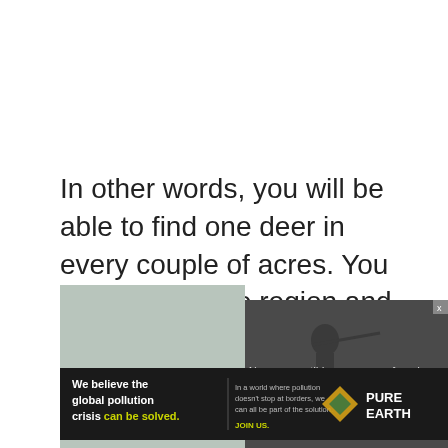In other words, you will be able to find one deer in every couple of acres. You can explore the region and engage with deer hunting.
[Figure (screenshot): A video player showing 'No compatible source was found' error message overlaid on a dark outdoor scene with a hunter figure, with a green background panel]
[Figure (illustration): Pure Earth advertisement banner with dark background: 'We believe the global pollution crisis can be solved.' with Pure Earth logo and JOIN US call to action]